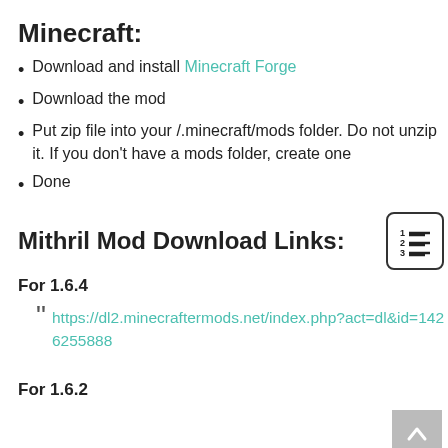Minecraft:
Download and install Minecraft Forge
Download the mod
Put zip file into your /.minecraft/mods folder. Do not unzip it. If you don't have a mods folder, create one
Done
Mithril Mod Download Links:
For 1.6.4
https://dl2.minecraftermods.net/index.php?act=dl&id=1426255888
For 1.6.2